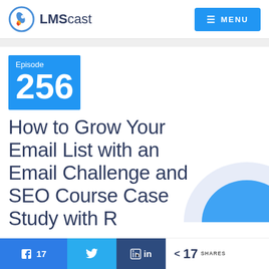LMScast — MENU
[Figure (logo): LMScast logo with rocket icon and text 'LMScast']
Episode 256
How to Grow Your Email List with an Email Challenge and SEO Course Case Study with R...
17 (Facebook shares) | Twitter share | LinkedIn share | < 17 SHARES